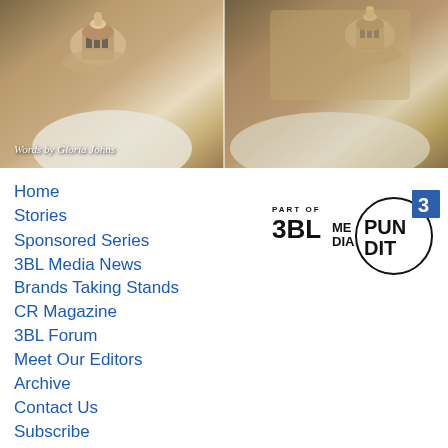[Figure (photo): Aerial or overhead view of dome structures with stone/earthen roofs, split into two side-by-side panels with a dividing line. Text overlay reads 'Words by Gloria Johns'.]
Words by Gloria Johns
Home
Stories
Sponsored Series
3BL Media News
Brands Taking Stands
CR Magazine
3BL Forum
Meet Our Editors
Archive
Contact Us
[Figure (logo): PART OF 3BL MEDIA logo in bold black text]
[Figure (logo): PUNDIT logo inside a circle with a blue square with number 3 in top right corner]